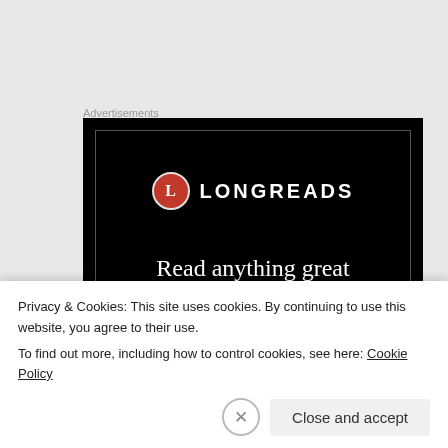Advertisements
[Figure (logo): Longreads advertisement banner with black background, red circle L logo, LONGREADS text, and tagline 'Read anything great']
Use code “WWBIBRAVE” for 10% off! 11/10/2018 – DAV 5K Atlanta – Atlanta, GA Use code “BIBRAVE4DAV5K” for 20% off. 11/18/2018 – DAV 5K Cincinnati, Cincinnati, OH
Privacy & Cookies: This site uses cookies. By continuing to use this website, you agree to their use. To find out more, including how to control cookies, see here: Cookie Policy
Close and accept